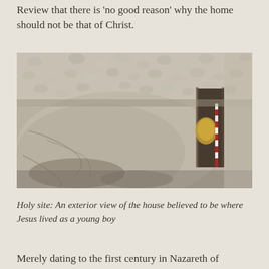Review that there is 'no good reason' why the home should not be that of Christ.
[Figure (photo): An exterior view of ancient stone ruins believed to be the house where Jesus lived as a young boy in Nazareth. Shows rough limestone walls, cobblestones, and a narrow doorway opening.]
Holy site: An exterior view of the house believed to be where Jesus lived as a young boy
Merely dating to the first century in Nazareth of